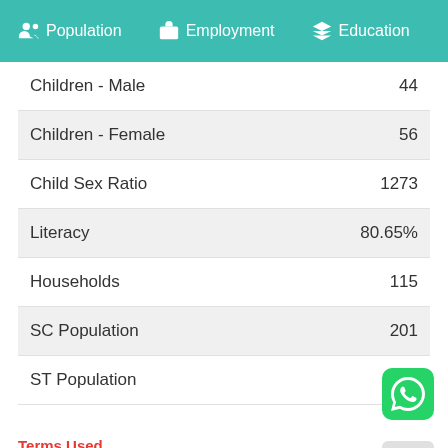Population  Employment  Education  He...
| Category | Value |
| --- | --- |
| Children - Male | 44 |
| Children - Female | 56 |
| Child Sex Ratio | 1273 |
| Literacy | 80.65% |
| Households | 115 |
| SC Population | 201 |
| ST Population | 0 |
Terms Used
Sex Ratio: It is a ratio of number of females per 1000 male. Calculation